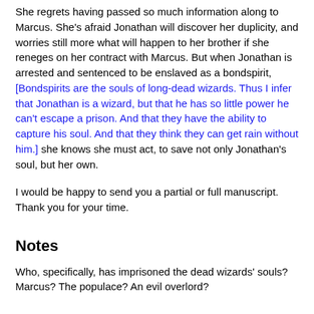She regrets having passed so much information along to Marcus. She's afraid Jonathan will discover her duplicity, and worries still more what will happen to her brother if she reneges on her contract with Marcus. But when Jonathan is arrested and sentenced to be enslaved as a bondspirit, [Bondspirits are the souls of long-dead wizards. Thus I infer that Jonathan is a wizard, but that he has so little power he can't escape a prison. And that they have the ability to capture his soul. And that they think they can get rain without him.] she knows she must act, to save not only Jonathan's soul, but her own.
I would be happy to send you a partial or full manuscript. Thank you for your time.
Notes
Who, specifically, has imprisoned the dead wizards' souls? Marcus? The populace? An evil overlord?